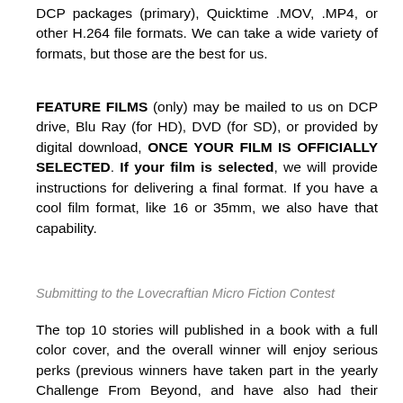DCP packages (primary), Quicktime .MOV, .MP4, or other H.264 file formats. We can take a wide variety of formats, but those are the best for us.
FEATURE FILMS (only) may be mailed to us on DCP drive, Blu Ray (for HD), DVD (for SD), or provided by digital download, ONCE YOUR FILM IS OFFICIALLY SELECTED. If your film is selected, we will provide instructions for delivering a final format. If you have a cool film format, like 16 or 35mm, we also have that capability.
Submitting to the Lovecraftian Micro Fiction Contest
The top 10 stories will published in a book with a full color cover, and the overall winner will enjoy serious perks (previous winners have taken part in the yearly Challenge From Beyond, and have also had their stories read aloud